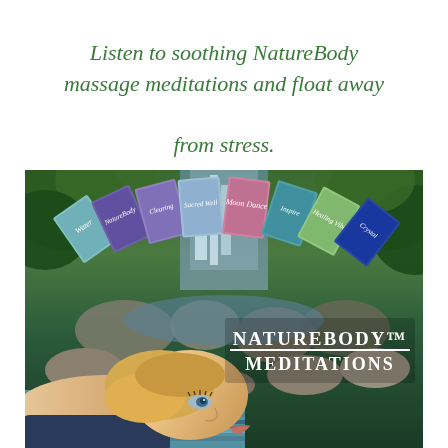Listen to soothing NatureBody massage meditations and float away from stress.
[Figure (photo): Advertisement photo showing a fan of meditation CD/cassette products arranged in an arc above a waterfall scene, with a woman lying down relaxing in the foreground. Text overlay reads 'NatureBody™ Meditations'.]